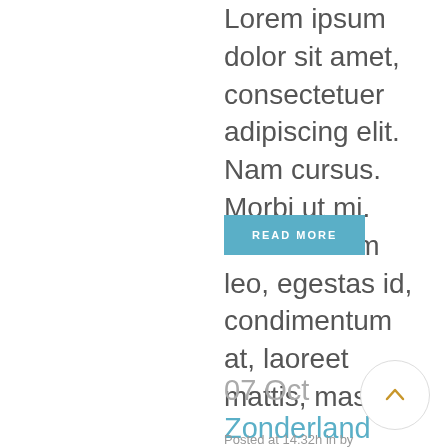Lorem ipsum dolor sit amet, consectetuer adipiscing elit. Nam cursus. Morbi ut mi. Nullam enim leo, egestas id, condimentum at, laoreet mattis, massa....
READ MORE
07 Oct Zonderland Story
Posted at 14:32h in by Admin, campero, 0